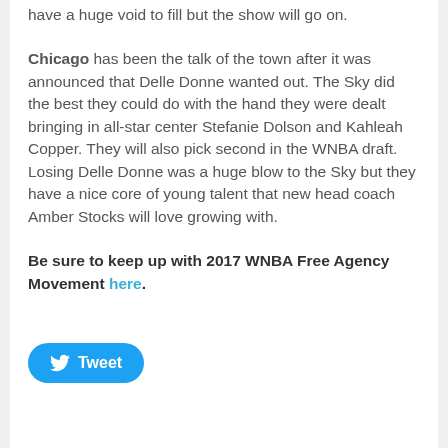have a huge void to fill but the show will go on.
Chicago has been the talk of the town after it was announced that Delle Donne wanted out. The Sky did the best they could do with the hand they were dealt bringing in all-star center Stefanie Dolson and Kahleah Copper. They will also pick second in the WNBA draft. Losing Delle Donne was a huge blow to the Sky but they have a nice core of young talent that new head coach Amber Stocks will love growing with.
Be sure to keep up with 2017 WNBA Free Agency Movement here.
[Figure (other): Twitter Tweet button in blue rounded rectangle]